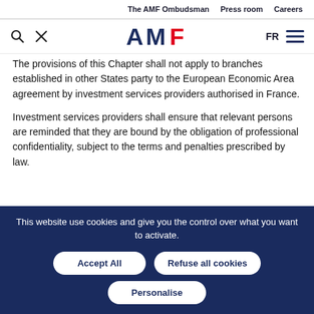The AMF Ombudsman   Press room   Careers
[Figure (logo): AMF logo with search and tools icons, FR language selector and hamburger menu]
The provisions of this Chapter shall not apply to branches established in other States party to the European Economic Area agreement by investment services providers authorised in France.
Investment services providers shall ensure that relevant persons are reminded that they are bound by the obligation of professional confidentiality, subject to the terms and penalties prescribed by law.
This website use cookies and give you the control over what you want to activate.
Accept All
Refuse all cookies
Personalise